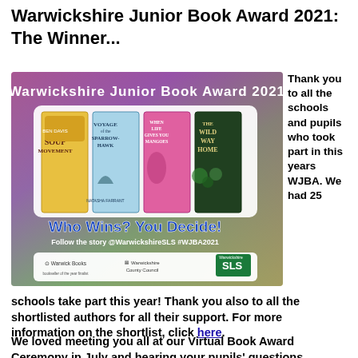Warwickshire Junior Book Award 2021: The Winner...
[Figure (illustration): Warwickshire Junior Book Award 2021 promotional image showing four book covers (The Soup Movement, Voyage of the Sparrowhawk, When Life Gives You Mangoes, The Wild Way Home) with text 'Who Wins? You Decide! Follow the story @WarwickshireSLS #WJBA2021' and logos for Warwick Books, Warwickshire County Council, and Warwickshire SLS.]
Thank you to all the schools and pupils who took part in this years WJBA. We had 25
schools take part this year! Thank you also to all the shortlisted authors for all their support. For more information on the shortlist, click here.
We loved meeting you all at our Virtual Book Award Ceremony in July and hearing your pupils' questions